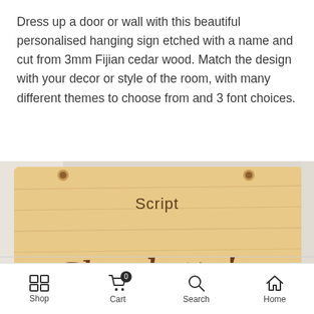Dress up a door or wall with this beautiful personalised hanging sign etched with a name and cut from 3mm Fijian cedar wood. Match the design with your decor or style of the room, with many different themes to choose from and 3 font choices.
[Figure (photo): Photo of wooden hanging signs etched with names. Top sign shows 'Script' label with 'Charlotte's' in cursive script font. Bottom sign partially visible with 'Bold' label.]
Shop | Cart (0) | Search | Home